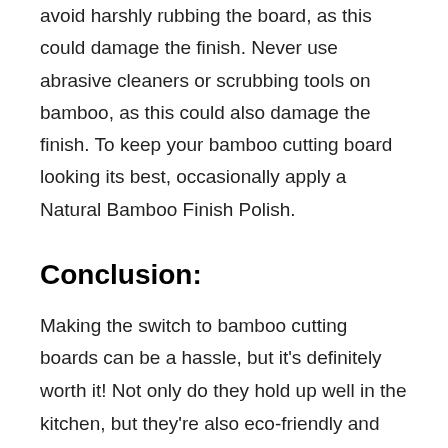avoid harshly rubbing the board, as this could damage the finish. Never use abrasive cleaners or scrubbing tools on bamboo, as this could also damage the finish. To keep your bamboo cutting board looking its best, occasionally apply a Natural Bamboo Finish Polish.
Conclusion:
Making the switch to bamboo cutting boards can be a hassle, but it's definitely worth it! Not only do they hold up well in the kitchen, but they're also eco-friendly and BPA-free, which is a huge plus. We tried to describe every aspects in our article. We came to know that some types of bamboo cutting